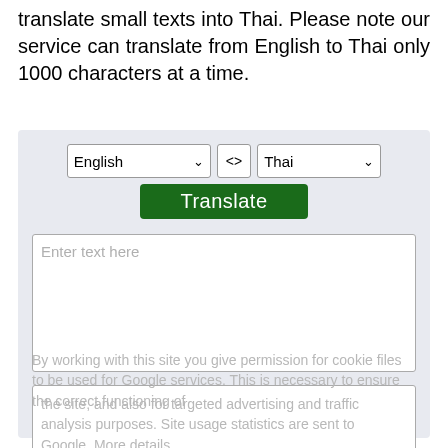translate small texts into Thai. Please note our service can translate from English to Thai only 1000 characters at a time.
[Figure (screenshot): Screenshot of a web-based English to Thai translation interface. Contains a language selector row (English <> Thai dropdowns), a green Translate button, an input textarea with placeholder text 'Enter text here', an output textarea, and a cookie consent overlay with 'Ok' button.]